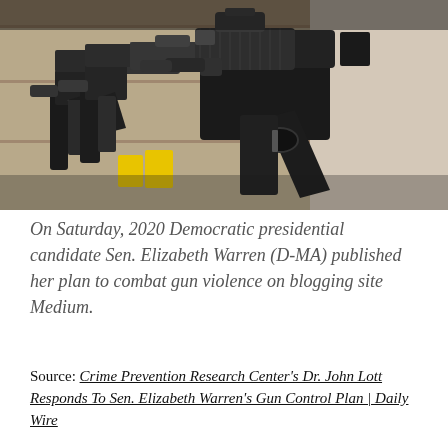[Figure (photo): Photograph of multiple black AR-style rifles displayed in a row against a wooden background, shot in close-up.]
On Saturday, 2020 Democratic presidential candidate Sen. Elizabeth Warren (D-MA) published her plan to combat gun violence on blogging site Medium.
Source: Crime Prevention Research Center's Dr. John Lott Responds To Sen. Elizabeth Warren's Gun Control Plan | Daily Wire